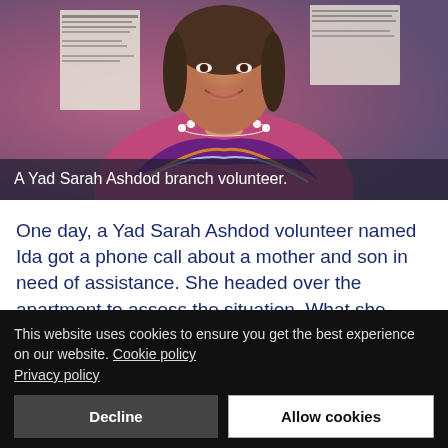[Figure (photo): An elderly woman smiling, wearing a colorful swirling pattern top and white pearl necklace, standing in front of papers on a wall. Photo of a Yad Sarah Ashdod branch volunteer.]
A Yad Sarah Ashdod branch volunteer.
One day, a Yad Sarah Ashdod volunteer named Ida got a phone call about a mother and son in need of assistance. She headed over the apartment to assess the situation. What she found was a nearly paraly…
This website uses cookies to ensure you get the best experience on our website. Cookie policy Privacy policy
Decline
Allow cookies